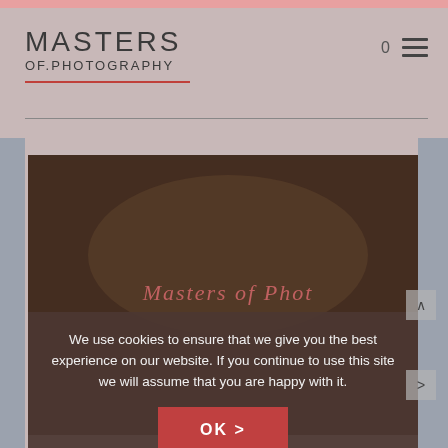MASTERS OF.PHOTOGRAPHY
[Figure (screenshot): Masters of Photography website screenshot showing logo, navigation bar, a dark-toned hero image with text 'Masters of Phot' partially visible, and a cookie consent banner with OK button]
Masters of Phot
We use cookies to ensure that we give you the best experience on our website. If you continue to use this site we will assume that you are happy with it.
OK >